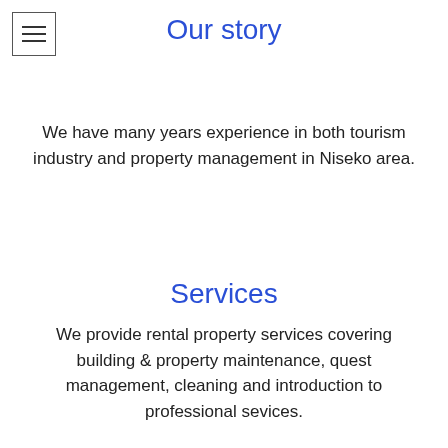[Figure (other): Hamburger menu icon — three horizontal lines inside a square border]
Our story
We have many years experience in both tourism industry and property management in Niseko area.
Services
We provide rental property services covering building & property maintenance, quest management, cleaning and introduction to professional sevices.